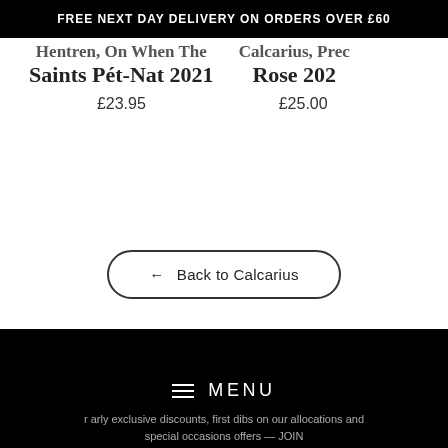FREE NEXT DAY DELIVERY ON ORDERS OVER £60
Hentren, On When The Saints Pét-Nat 2021
£23.95
Calcarius, Prec... Rose 202...
£25.00
← Back to Calcarius
MENU
r arly exclusive discounts, first dibs on our allocations and
special occasions offers — JOIN